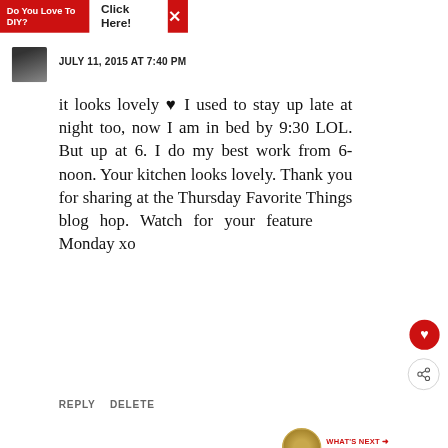Do You Love To DIY?  Click Here!
JULY 11, 2015 AT 7:40 PM
it looks lovely ♥ I used to stay up late at night too, now I am in bed by 9:30 LOL. But up at 6. I do my best work from 6-noon. Your kitchen looks lovely. Thank you for sharing at the Thursday Favorite Things blog hop. Watch for your feature Monday xo
REPLY   DELETE
WHAT'S NEXT → Placemat To Pillow In Les...
▾  REPLIES
[Figure (infographic): GO BEYOND SAYING THANK YOU — Operation Gratitude JOIN US advertisement banner]